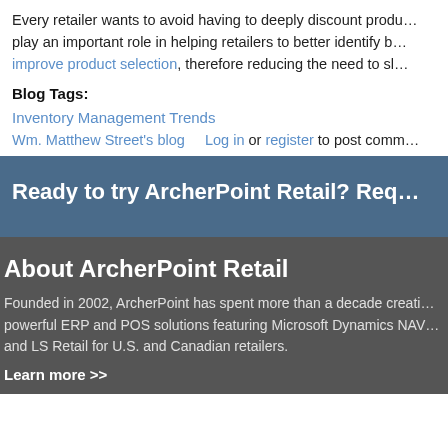Every retailer wants to avoid having to deeply discount produ... play an important role in helping retailers to better identify b... improve product selection, therefore reducing the need to sl...
Blog Tags:
Inventory Management Trends
Wm. Matthew Street's blog    Log in or register to post comm...
Ready to try ArcherPoint Retail? Req...
About ArcherPoint Retail
Founded in 2002, ArcherPoint has spent more than a decade creati... powerful ERP and POS solutions featuring Microsoft Dynamics NAV... and LS Retail for U.S. and Canadian retailers.
Learn more >>